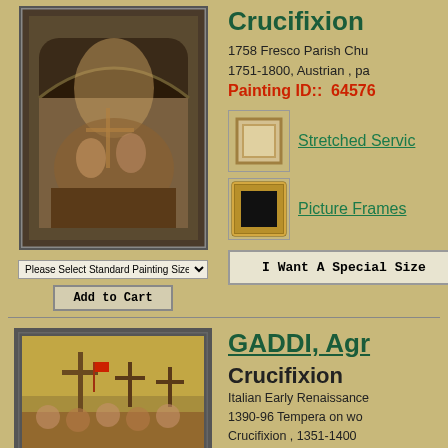[Figure (photo): Fresco painting showing Crucifixion scene with figures in an arched church setting, dark and ornate]
Please Select Standard Painting Size
Add to Cart
Crucifixion
1758 Fresco Parish Chu 1751-1800, Austrian , pa
Painting ID::  64576
[Figure (photo): Thumbnail image of stretched canvas service]
Stretched Servic
[Figure (photo): Thumbnail image of picture frame (gold ornate frame)]
Picture Frames
I Want A Special Size
GADDI, Agr
Crucifixion
Italian Early Renaissance 1390-96 Tempera on wo Crucifixion , 1351-1400
Painting IDu  64767
[Figure (photo): Medieval Italian Crucifixion painting showing Christ on cross with many figures below]